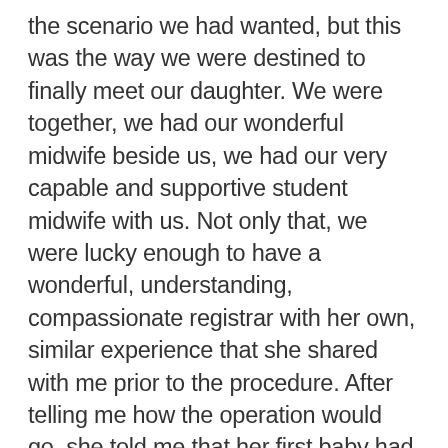the scenario we had wanted, but this was the way we were destined to finally meet our daughter. We were together, we had our wonderful midwife beside us, we had our very capable and supportive student midwife with us. Not only that, we were lucky enough to have a wonderful, understanding, compassionate registrar with her own, similar experience that she shared with me prior to the procedure. After telling me how the operation would go, she told me that her first baby had also been frank breech, and that she too had wanted to birth her vaginally but ended up with a c-section and so she was very sympathetic to my situation.  My fear of being 'just another tummy in the conveyor belt of c-sections' had been allayed. I felt an affinity with the woman who would be helping my daughter come into the world, and at that stage, nothing could be more settling for